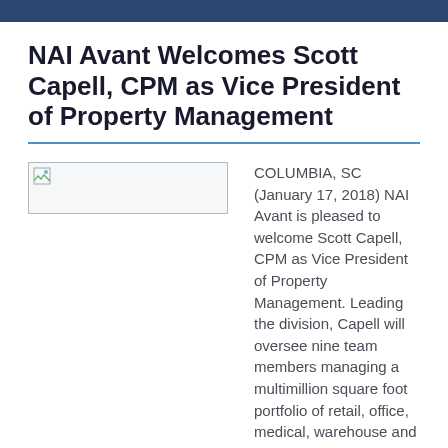NAI Avant Welcomes Scott Capell, CPM as Vice President of Property Management
[Figure (photo): Placeholder image thumbnail with broken image icon]
COLUMBIA, SC (January 17, 2018) NAI Avant is pleased to welcome Scott Capell, CPM as Vice President of Property Management. Leading the division, Capell will oversee nine team members managing a multimillion square foot portfolio of retail, office, medical, warehouse and industrial real estate throughout the Southeast.